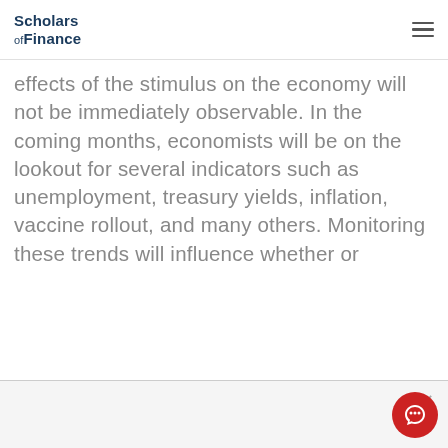Scholars of Finance
effects of the stimulus on the economy will not be immediately observable. In the coming months, economists will be on the lookout for several indicators such as unemployment, treasury yields, inflation, vaccine rollout, and many others. Monitoring these trends will influence whether or